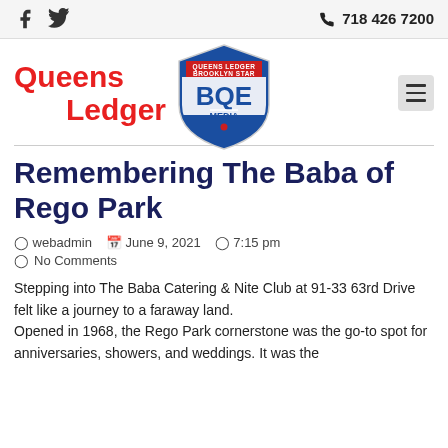Queens Ledger | BQE Media — 718 426 7200
[Figure (logo): BQE Media shield logo with Queens Ledger Brooklyn Star text]
Remembering The Baba of Rego Park
webadmin   June 9, 2021   7:15 pm   No Comments
Stepping into The Baba Catering & Nite Club at 91-33 63rd Drive felt like a journey to a faraway land. Opened in 1968, the Rego Park cornerstone was the go-to spot for anniversaries, showers, and weddings. It was the